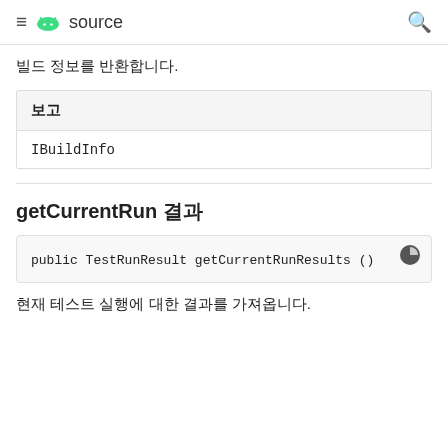≡ 🤖 source 🔍
빌드 정보를 반환합니다.
| 보고 |
| --- |
| IBuildInfo |
getCurrentRun 결과
public TestRunResult getCurrentRunResults ()
현재 테스트 실행에 대한 결과를 가져옵니다.